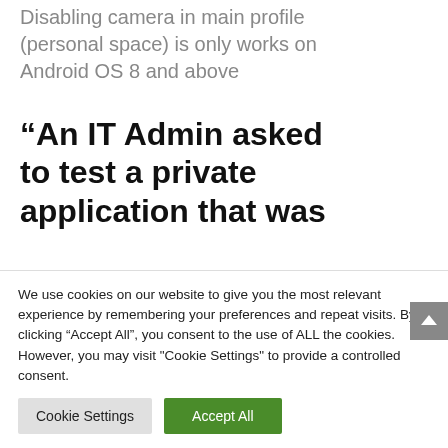Disabling camera in main profile (personal space) is only works on Android OS 8 and above
“An IT Admin asked to test a private application that was
We use cookies on our website to give you the most relevant experience by remembering your preferences and repeat visits. By clicking “Accept All”, you consent to the use of ALL the cookies. However, you may visit "Cookie Settings" to provide a controlled consent.